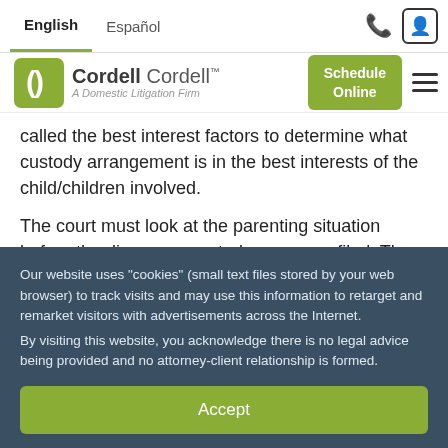English  Español
[Figure (logo): Cordell Cordell - A Domestic Litigation Firm logo with Schedule Online button and hamburger menu]
called the best interest factors to determine what custody arrangement is in the best interests of the child/children involved.
The court must look at the parenting situation before the divorce or custody case was filed. The court has to make a determination if there is an established custodial environment with either parent or both parents. An established custodial environment is a
Our website uses "cookies" (small text files stored by your web browser) to track visits and may use this information to retarget and remarket visitors with advertisements across the Internet.
By visiting this website, you acknowledge there is no legal advice being provided and no attorney-client relationship is formed.
Accept